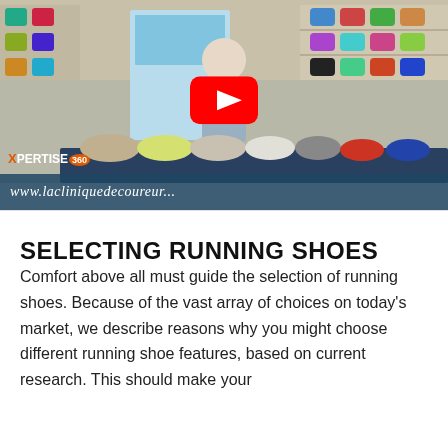[Figure (screenshot): YouTube video thumbnail showing a person in a running shoe store presenting multiple pairs of running shoes on a table. A YouTube play button is overlaid in the center. The store has a wall display of colorful running shoes. A watermark reads 'XPERTISE 360' and the URL bar at the bottom shows 'www.lacliniquedecoureur..']
SELECTING RUNNING SHOES
Comfort above all must guide the selection of running shoes. Because of the vast array of choices on today's market, we describe reasons why you might choose different running shoe features, based on current research. This should make your